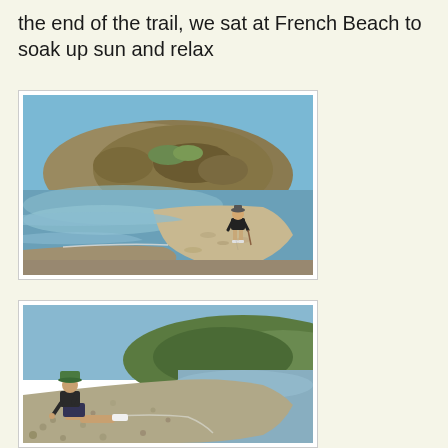the end of the trail, we sat at French Beach to soak up sun and relax
[Figure (photo): A child walking on a pebbly beach with calm blue water on the left and a rocky hill in the background under a clear blue sky.]
[Figure (photo): A child in a green hat sitting on a pebbly beach shoreline with calm water and a green hillside in the background under a clear sky.]